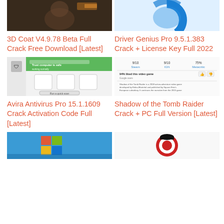[Figure (screenshot): 3D Coat software screenshot thumbnail - dark brownish background with 3D character]
3D Coat V4.9.78 Beta Full Crack Free Download [Latest]
[Figure (screenshot): Driver Genius Pro software - blue logo on white background]
Driver Genius Pro 9.5.1.383 Crack + License Key Full 2022
[Figure (screenshot): Avira Antivirus Pro interface screenshot showing antivirus dashboard]
Avira Antivirus Pro 15.1.1609 Crack Activation Code Full [Latest]
[Figure (screenshot): Shadow of the Tomb Raider game info page showing review scores 9/10 Steam, 9/10 IGN, 75% Metacritic, 94% liked this video game]
Shadow of the Tomb Raider Crack + PC Full Version [Latest]
[Figure (screenshot): Windows setup/installer screen with colorful Windows logo on blue background]
[Figure (logo): Red and white circular logo/icon on white background]